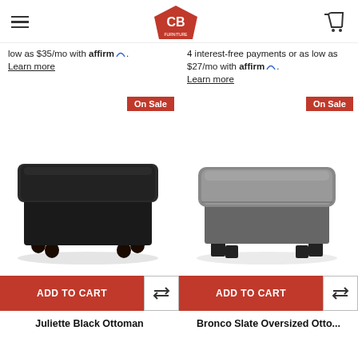CB Furniture — navigation header with logo and cart
low as $35/mo with affirm. Learn more
4 interest-free payments or as low as $27/mo with affirm. Learn more
[Figure (photo): Black leather ottoman with turned wooden legs — labeled On Sale]
[Figure (photo): Slate gray oversized ottoman with block legs — labeled On Sale]
ADD TO CART
ADD TO CART
Juliette Black Ottoman
Bronco Slate Oversized Otto...